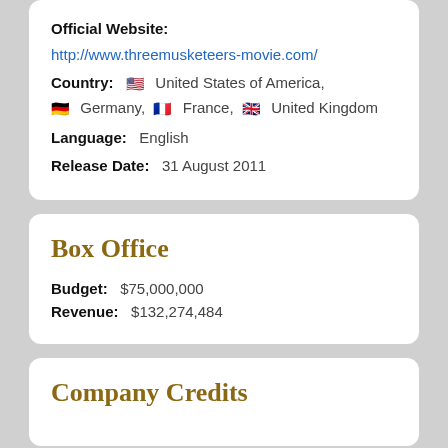Official Website: http://www.threemusketeers-movie.com/
Country: United States of America, Germany, France, United Kingdom
Language: English
Release Date: 31 August 2011
Box Office
Budget: $75,000,000
Revenue: $132,274,484
Company Credits